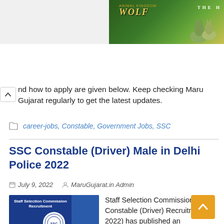[Figure (screenshot): Top gray area and Wolf game advertisement banner in top right]
nd how to apply are given below. Keep checking Maru Gujarat regularly to get the latest updates.
career-jobs, Constable, Government Jobs, SSC
SSC Constable (Driver) Male in Delhi Police 2022
July 9, 2022   MaruGujarat.in Admin
[Figure (photo): Staff Selection Commission Recruitment thumbnail image with SSC logo on blue background]
Staff Selection Commission (SSC Constable (Driver) Recruitment 2022) has published an Advertisement for the Constable (Driver)-Male in Delhi Police post